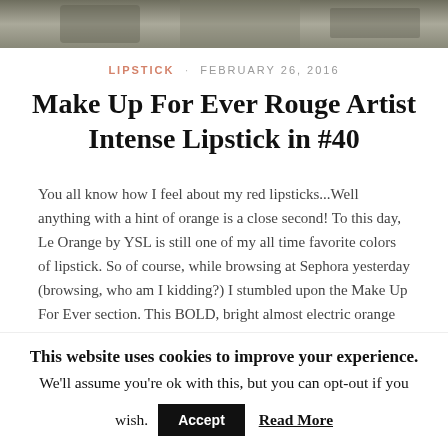[Figure (photo): Cropped top portion of a photograph showing what appears to be an animal or texture, partially visible at the top of the page.]
LIPSTICK · FEBRUARY 26, 2016
Make Up For Ever Rouge Artist Intense Lipstick in #40
You all know how I feel about my red lipsticks...Well anything with a hint of orange is a close second! To this day, Le Orange by YSL is still one of my all time favorite colors of lipstick. So of course, while browsing at Sephora yesterday (browsing, who am I kidding?) I stumbled upon the Make Up For Ever section. This BOLD, bright almost electric orange lipstick quickly caught my
This website uses cookies to improve your experience. We'll assume you're ok with this, but you can opt-out if you wish. Accept Read More